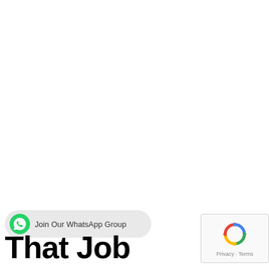[Figure (screenshot): WhatsApp group join button bar with green WhatsApp icon and text 'Join Our WhatsApp Group' on a light grey pill-shaped background]
That Job
[Figure (screenshot): reCAPTCHA widget showing spinning arrows logo with 'Privacy · Terms' text below]